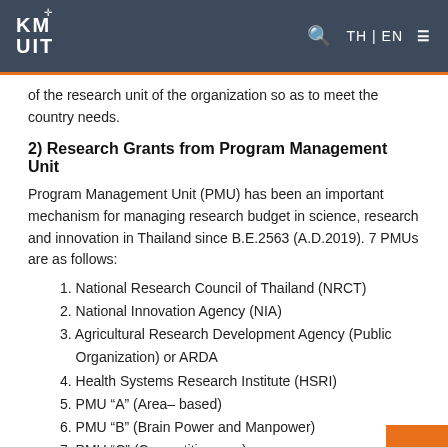KMUT — TH | EN
of the research unit of the organization so as to meet the country needs.
2) Research Grants from Program Management Unit
Program Management Unit (PMU) has been an important mechanism for managing research budget in science, research and innovation in Thailand since B.E.2563 (A.D.2019). 7 PMUs are as follows:
1. National Research Council of Thailand (NRCT)
2. National Innovation Agency (NIA)
3. Agricultural Research Development Agency (Public Organization) or ARDA
4. Health Systems Research Institute (HSRI)
5. PMU “A” (Area– based)
6. PMU “B” (Brain Power and Manpower)
7. PMU “C” (Competitiveness)
3) International Research Funds e.g. ASAHI Glass Foundation, UNESCO, SIDA, Newton Fund